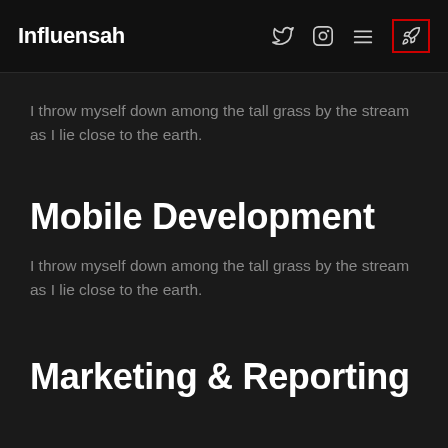Influensah
I throw myself down among the tall grass by the stream as I lie close to the earth.
Mobile Development
I throw myself down among the tall grass by the stream as I lie close to the earth.
Marketing & Reporting